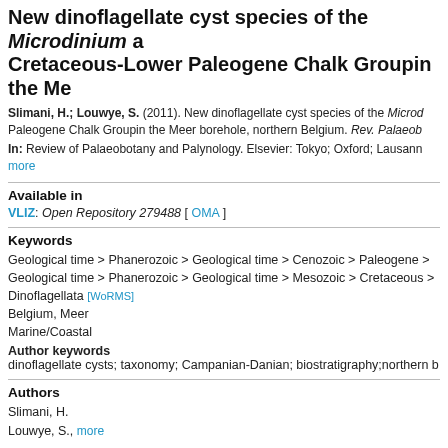New dinoflagellate cyst species of the Microdinium a Cretaceous-Lower Paleogene Chalk Groupin the Me
Slimani, H.; Louwye, S. (2011). New dinoflagellate cyst species of the Microd Paleogene Chalk Groupin the Meer borehole, northern Belgium. Rev. Palaeob
In: Review of Palaeobotany and Palynology. Elsevier: Tokyo; Oxford; Lausann more
Available in
VLIZ: Open Repository 279488 [ OMA ]
Keywords
Geological time > Phanerozoic > Geological time > Cenozoic > Paleogene > Geological time > Phanerozoic > Geological time > Mesozoic > Cretaceous > Dinoflagellata [WoRMS]
Belgium, Meer
Marine/Coastal
Author keywords
dinoflagellate cysts; taxonomy; Campanian-Danian; biostratigraphy;northern b
Authors
Slimani, H.
Louwye, S., more
Abstract
A high-resolution palynological study of the Campanian to Danian Chalk Grou smaller organic-walled dinoflagellate cyst species previously left in open nom the new species, an emendation of Phanerodinium fourmarieri Lejeune-C